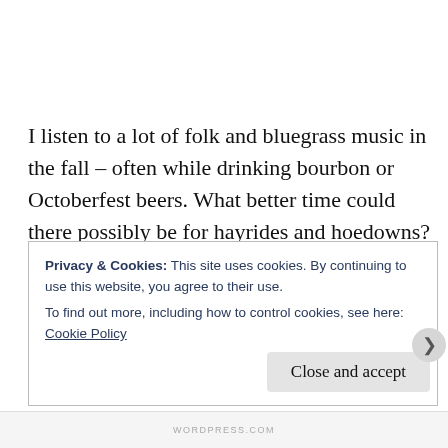I listen to a lot of folk and bluegrass music in the fall – often while drinking bourbon or Octoberfest beers. What better time could there possibly be for hayrides and hoedowns?
There are no lyrics in the song it just makes me feel l'...
Privacy & Cookies: This site uses cookies. By continuing to use this website, you agree to their use. To find out more, including how to control cookies, see here: Cookie Policy
Close and accept